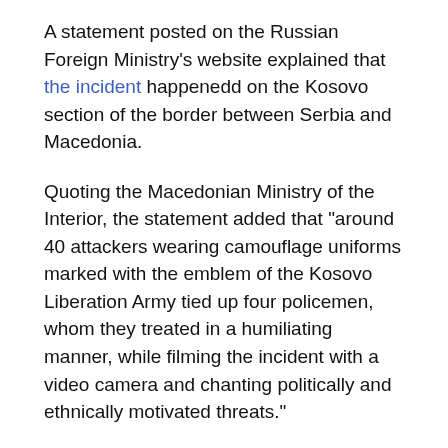A statement posted on the Russian Foreign Ministry's website explained that the incident happenedd on the Kosovo section of the border between Serbia and Macedonia.
Quoting the Macedonian Ministry of the Interior, the statement added that "around 40 attackers wearing camouflage uniforms marked with the emblem of the Kosovo Liberation Army tied up four policemen, whom they treated in a humiliating manner, while filming the incident with a video camera and chanting politically and ethnically motivated threats."
The criminals made it clear that this was a “warning” and then fled the scene, the Russian Ministry of Foreign Affairs noted, and added:
"The incident on the Macedonian border is proof of the lingering sharp ethnic problems and conflict potential in that part of the Balkans. The situation is made worse by a